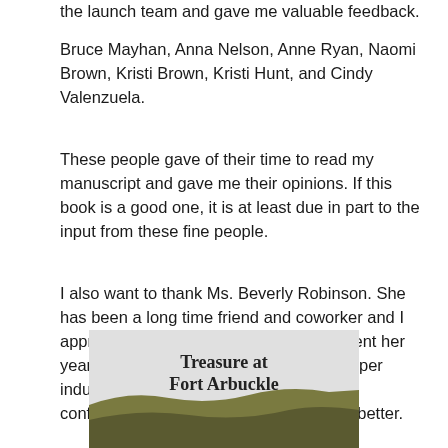the launch team and gave me valuable feedback.
Bruce Mayhan, Anna Nelson, Anne Ryan, Naomi Brown, Kristi Brown, Kristi Hunt, and Cindy Valenzuela.
These people gave of their time to read my manuscript and gave me their opinions. If this book is a good one, it is at least due in part to the input from these fine people.
I also want to thank Ms. Beverly Robinson. She has been a long time friend and coworker and I appreciate the friendship we have. She lent her years of editorial expertise in the newspaper industry to edit my novel for me. I have confidence that no one could have done better.
[Figure (photo): Book cover image of 'Treasure at Fort Arbuckle' showing text title over a landscape background with hills]